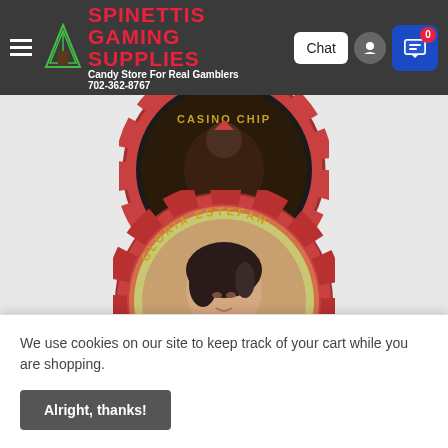Spinettis Gaming Supplies — Candy Store For Real Gamblers — 702-362-8767
[Figure (photo): Partial view of a casino chip from top, with dark design]
[Figure (photo): Red casino chip with 'GLORIA ESTEFAN' text and portrait photo of Gloria Estefan in center]
[Figure (photo): Partial view of another casino chip at bottom with 'GLORIA ESTEFAN' text visible]
We use cookies on our site to keep track of your cart while you are shopping.
Alright, thanks!